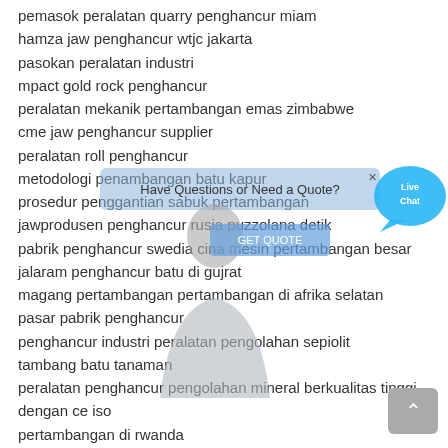pemasok peralatan quarry penghancur miam
hamza jaw penghancur wtjc jakarta
pasokan peralatan industri
mpact gold rock penghancur
peralatan mekanik pertambangan emas zimbabwe
cme jaw penghancur supplier
peralatan roll penghancur
metodologi penambangan batu kapur
prosedur penggantian sabuk pertambangan
jawprodusen penghancur rusia puzzolana detik
pabrik penghancur swedia cina mesin pertambangan besar
jalaram penghancur batu di gujrat
magang pertambangan pertambangan di afrika selatan
pasar pabrik penghancur
penghancur industri peralatan pengolahan sepiolit
tambang batu tanaman
peralatan penghancur pengolahan mineral berkualitas tinggi
dengan ce iso
pertambangan di rwanda